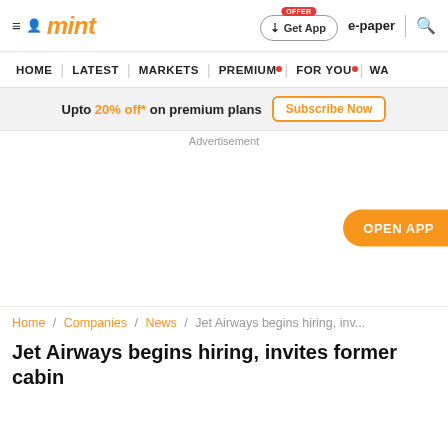mint — Get App | e-paper | search
HOME | LATEST | MARKETS | PREMIUM | FOR YOU | WA
Upto 20% off* on premium plans  Subscribe Now
Advertisement
OPEN APP
Home / Companies / News / Jet Airways begins hiring, inv...
Jet Airways begins hiring, invites former cabin